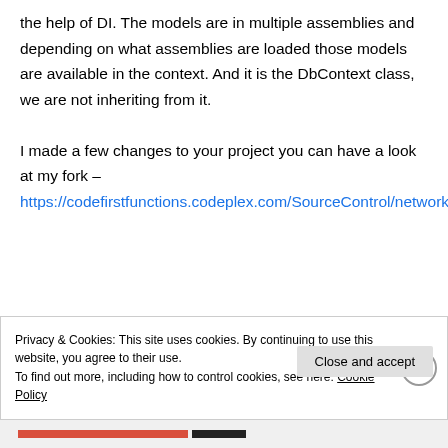the help of DI. The models are in multiple assemblies and depending on what assemblies are loaded those models are available in the context. And it is the DbContext class, we are not inheriting from it.

I made a few changes to your project you can have a look at my fork – https://codefirstfunctions.codeplex.com/SourceControl/network/forks/angelyordanov/codefirstfunctions.
Privacy & Cookies: This site uses cookies. By continuing to use this website, you agree to their use.
To find out more, including how to control cookies, see here: Cookie Policy